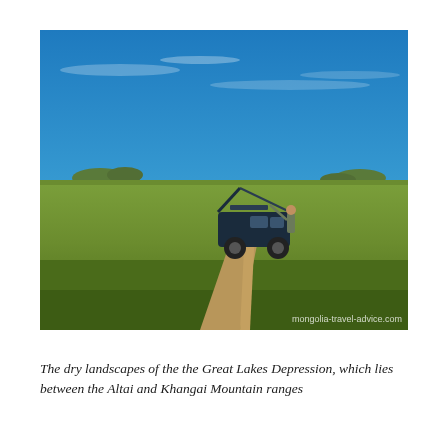[Figure (photo): A 4WD vehicle with its hood open parked on a dirt track in the vast flat green steppe grasslands of the Great Lakes Depression in Mongolia. A person stands beside the open hood. The landscape is wide open with a bright blue sky and distant low mountains on the horizon. A watermark in the bottom right reads 'mongolia-travel-advice.com'.]
The dry landscapes of the the Great Lakes Depression, which lies between the Altai and Khangai Mountain ranges